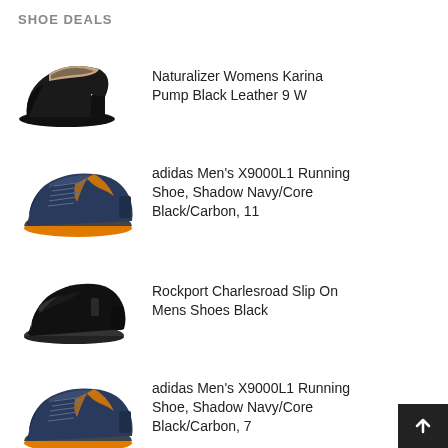SHOE DEALS
Naturalizer Womens Karina Pump Black Leather 9 W
[Figure (photo): Black women's block-heel pump shoe with nude interior lining]
adidas Men's X9000L1 Running Shoe, Shadow Navy/Core Black/Carbon, 11
[Figure (photo): Navy blue adidas X9000L1 running shoe with orange sole accents]
Rockport Charlesroad Slip On Mens Shoes Black
[Figure (photo): Black Rockport Charlesroad slip-on dress shoe]
adidas Men's X9000L1 Running Shoe, Shadow Navy/Core Black/Carbon, 7
[Figure (photo): Navy blue adidas X9000L1 running shoe with orange sole accents, size 7]